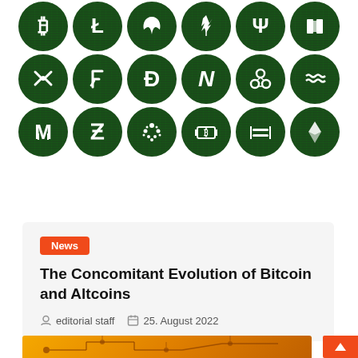[Figure (illustration): Grid of 18 cryptocurrency coin icons on dark green matrix-style background circles, arranged in 3 rows of 6. Row 1: Bitcoin (₿), Litecoin (Ł), leaf/Nano, feather/Vertcoin, trident/Waves, book/Mana. Row 2: Ripple (XRP), Factom (F), Dash (D), NEM (N), Byteball (3-circle), Stellar (wavy lines). Row 3: Monero (M), Zcash (Z), IOTA (dots), Bitcoin Cash (paper money), Dash (=), Ethereum (diamond).]
News
The Concomitant Evolution of Bitcoin and Altcoins
editorial staff   25. August 2022
[Figure (illustration): Bottom portion of an orange/gold circuit board background image, partially visible at bottom of page.]